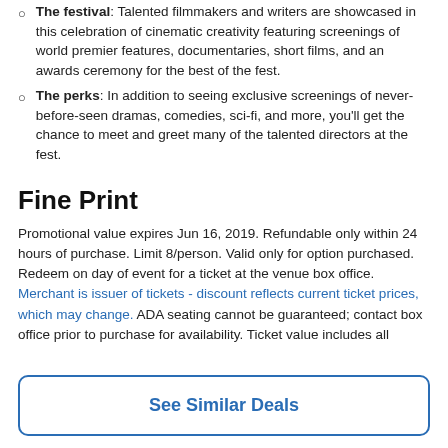The festival: Talented filmmakers and writers are showcased in this celebration of cinematic creativity featuring screenings of world premier features, documentaries, short films, and an awards ceremony for the best of the fest.
The perks: In addition to seeing exclusive screenings of never-before-seen dramas, comedies, sci-fi, and more, you'll get the chance to meet and greet many of the talented directors at the fest.
Fine Print
Promotional value expires Jun 16, 2019. Refundable only within 24 hours of purchase. Limit 8/person. Valid only for option purchased. Redeem on day of event for a ticket at the venue box office. Merchant is issuer of tickets - discount reflects current ticket prices, which may change. ADA seating cannot be guaranteed; contact box office prior to purchase for availability. Ticket value includes all
See Similar Deals